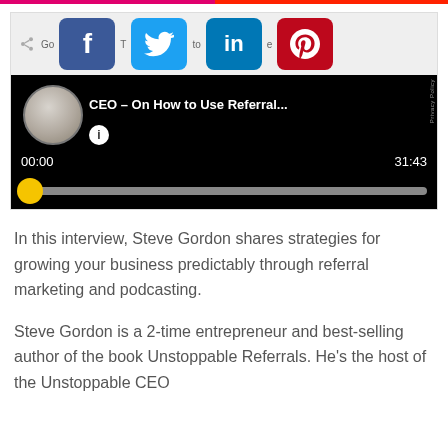[Figure (screenshot): Audio/video player widget showing social sharing buttons (Facebook, Twitter, LinkedIn, Pinterest) overlaid on a dark player with a circular avatar thumbnail, title text 'CEO – On How to Use Referral...', info button, time display '00:00' and '31:43', and a yellow-handled progress bar.]
In this interview, Steve Gordon shares strategies for growing your business predictably through referral marketing and podcasting.
Steve Gordon is a 2-time entrepreneur and best-selling author of the book Unstoppable Referrals. He's the host of the Unstoppable CEO...